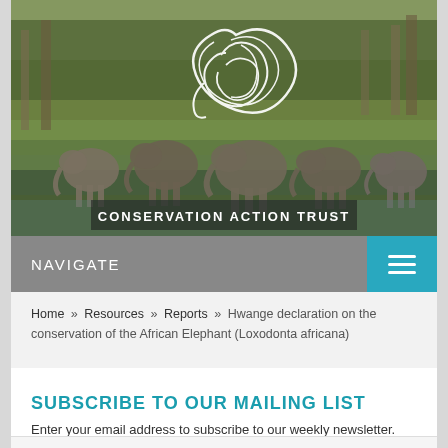[Figure (photo): Hero image showing a herd of elephants near a waterway with lush green vegetation and trees in the background. A white decorative elephant logo and the text CONSERVATION ACTION TRUST are overlaid on the image.]
NAVIGATE
Home » Resources » Reports » Hwange declaration on the conservation of the African Elephant (Loxodonta africana)
SUBSCRIBE TO OUR MAILING LIST
Enter your email address to subscribe to our weekly newsletter.